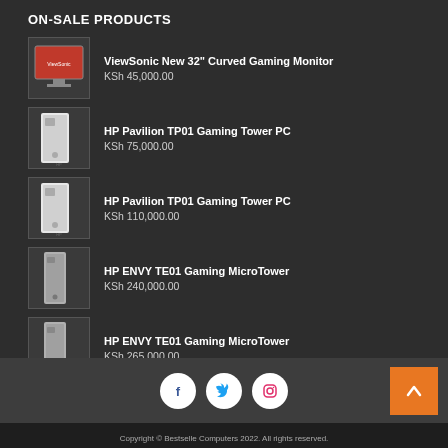ON-SALE PRODUCTS
ViewSonic New 32" Curved Gaming Monitor — KSh 45,000.00
HP Pavilion TP01 Gaming Tower PC — KSh 75,000.00
HP Pavilion TP01 Gaming Tower PC — KSh 110,000.00
HP ENVY TE01 Gaming MicroTower — KSh 240,000.00
HP ENVY TE01 Gaming MicroTower — KSh 265,000.00
Copyright © Bestselle Computers 2022. All rights reserved.